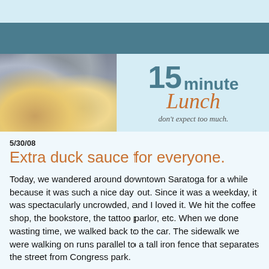[Figure (photo): Blog banner header with photo of fast food (burger bun and french fries) on the left, and '15 minute Lunch' logo with tagline 'don't expect too much.' on a light blue background on the right.]
5/30/08
Extra duck sauce for everyone.
Today, we wandered around downtown Saratoga for a while because it was such a nice day out. Since it was a weekday, it was spectacularly uncrowded, and I loved it. We hit the coffee shop, the bookstore, the tattoo parlor, etc. When we done wasting time, we walked back to the car. The sidewalk we were walking on runs parallel to a tall iron fence that separates the street from Congress park.
When we were nearing the car, I heard some quacking, and when I looked toward the fence I saw a mallard duck walking